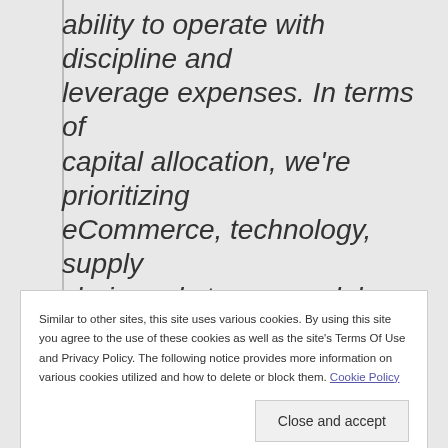ability to operate with discipline and leverage expenses. In terms of capital allocation, we're prioritizing eCommerce, technology, supply chain and store remodels over new stores and clubs, which we believe will
Similar to other sites, this site uses various cookies. By using this site you agree to the use of these cookies as well as the site's Terms Of Use and Privacy Policy. The following notice provides more information on various cookies utilized and how to delete or block them. Cookie Policy
Close and accept